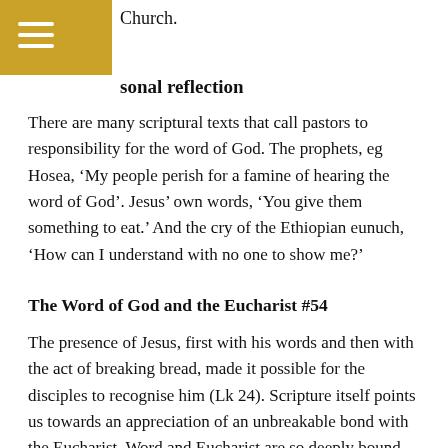Church.
sonal reflection
There are many scriptural texts that call pastors to responsibility for the word of God. The prophets, eg Hosea, ‘My people perish for a famine of hearing the word of God’. Jesus’ own words, ‘You give them something to eat.’ And the cry of the Ethiopian eunuch, ‘How can I understand with no one to show me?’
The Word of God and the Eucharist #54
The presence of Jesus, first with his words and then with the act of breaking bread, made it possible for the disciples to recognise him (Lk 24). Scripture itself points us towards an appreciation of an unbreakable bond with the Eucharist. Word and Eucharist are so deeply bound together that we cannot understand one without the other. For this reason the Church has honoured the word of God and the Eucharistic mystery with the same reverence (my